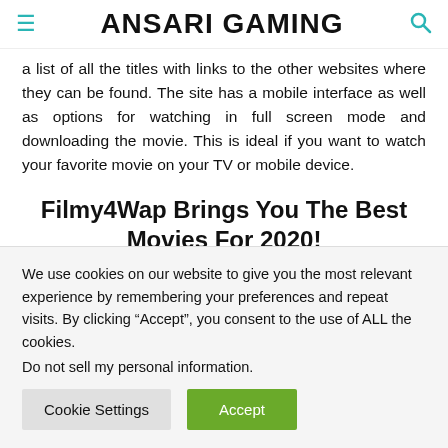ANSARI GAMING
a list of all the titles with links to the other websites where they can be found. The site has a mobile interface as well as options for watching in full screen mode and downloading the movie. This is ideal if you want to watch your favorite movie on your TV or mobile device.
Filmy4Wap Brings You The Best Movies For 2020!
Filmy4Wap is the best way to watch movies in 2020. We have
We use cookies on our website to give you the most relevant experience by remembering your preferences and repeat visits. By clicking “Accept”, you consent to the use of ALL the cookies.
Do not sell my personal information.